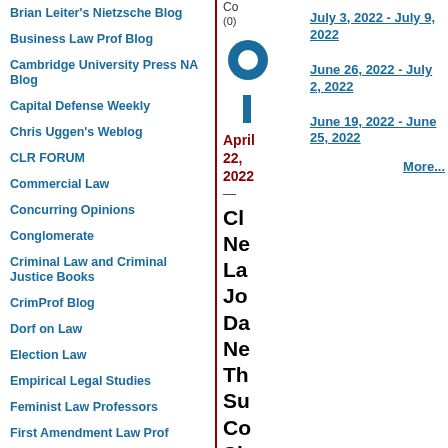Brian Leiter's Nietzsche Blog
Business Law Prof Blog
Cambridge University Press NA Blog
Capital Defense Weekly
Chris Uggen's Weblog
CLR FORUM
Commercial Law
Concurring Opinions
Conglomerate
Criminal Law and Criminal Justice Books
CrimProf Blog
Dorf on Law
Election Law
Empirical Legal Studies
Feminist Law Professors
First Amendment Law Prof
Gender & Sexuality Law Blog
Co (0)
July 3, 2022 - July 9, 2022
June 26, 2022 - July 2, 2022
June 19, 2022 - June 25, 2022
More...
April 22, 2022
Cl Ne La Jo Da Ne Th Su Co Sh Do
Ca Fo